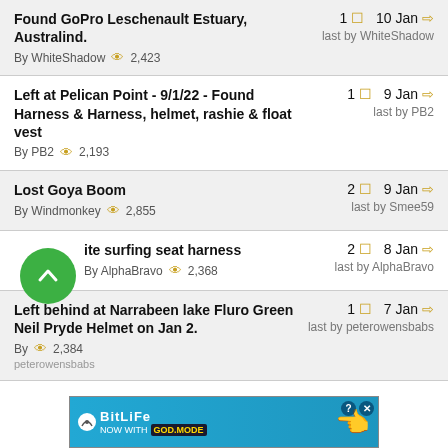Found GoPro Leschenault Estuary, Australind. By WhiteShadow | 2,423 views | 1 comment | 10 Jan | last by WhiteShadow
Left at Pelican Point - 9/1/22 - Found Harness & Harness, helmet, rashie & float vest. By PB2 | 2,193 views | 1 comment | 9 Jan | last by PB2
Lost Goya Boom. By Windmonkey | 2,855 views | 2 comments | 9 Jan | last by Smee59
L[ost wh]ite surfing seat harness. By AlphaBravo | 2,368 views | 2 comments | 8 Jan | last by AlphaBravo
Left behind at Narrabeen lake Fluro Green Neil Pryde Helmet on Jan 2. By peterowensbabs | 2,384 views | 1 comment | 7 Jan | last by peterowensbabs
[Figure (infographic): BitLife advertisement banner - NOW WITH GOD MODE]